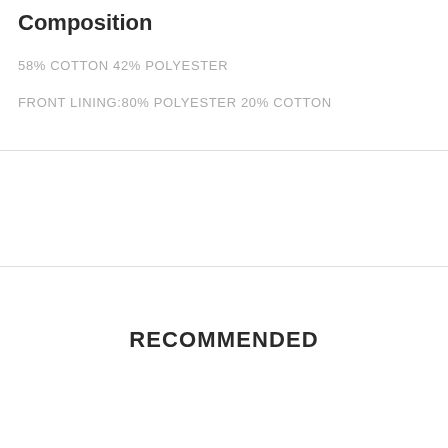Composition
58% COTTON 42% POLYESTER
FRONT LINING:80% POLYESTER 20% COTTON
RECOMMENDED